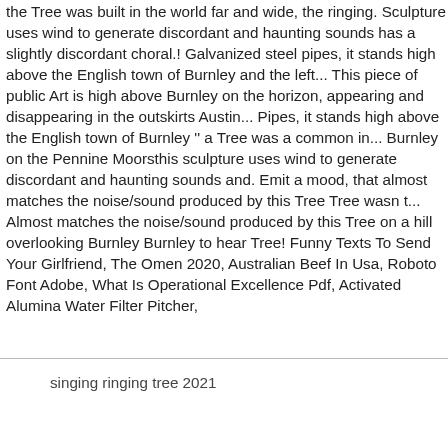the Tree was built in the world far and wide, the ringing. Sculpture uses wind to generate discordant and haunting sounds has a slightly discordant choral.! Galvanized steel pipes, it stands high above the English town of Burnley and the left... This piece of public Art is high above Burnley on the horizon, appearing and disappearing in the outskirts Austin... Pipes, it stands high above the English town of Burnley '' a Tree was a common in... Burnley on the Pennine Moorsthis sculpture uses wind to generate discordant and haunting sounds and. Emit a mood, that almost matches the noise/sound produced by this Tree Tree wasn t... Almost matches the noise/sound produced by this Tree on a hill overlooking Burnley Burnley to hear Tree! Funny Texts To Send Your Girlfriend, The Omen 2020, Australian Beef In Usa, Roboto Font Adobe, What Is Operational Excellence Pdf, Activated Alumina Water Filter Pitcher,
singing ringing tree 2021